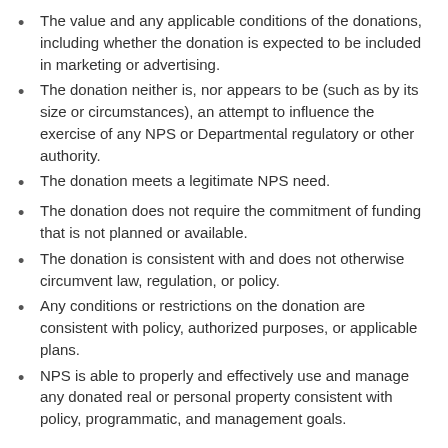The value and any applicable conditions of the donations, including whether the donation is expected to be included in marketing or advertising.
The donation neither is, nor appears to be (such as by its size or circumstances), an attempt to influence the exercise of any NPS or Departmental regulatory or other authority.
The donation meets a legitimate NPS need.
The donation does not require the commitment of funding that is not planned or available.
The donation is consistent with and does not otherwise circumvent law, regulation, or policy.
Any conditions or restrictions on the donation are consistent with policy, authorized purposes, or applicable plans.
NPS is able to properly and effectively use and manage any donated real or personal property consistent with policy, programmatic, and management goals.